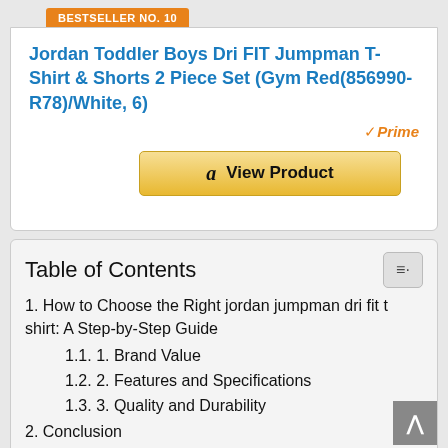BESTSELLER NO. 10
Jordan Toddler Boys Dri FIT Jumpman T-Shirt & Shorts 2 Piece Set (Gym Red(856990-R78)/White, 6)
Prime
View Product
Table of Contents
1. How to Choose the Right jordan jumpman dri fit t shirt: A Step-by-Step Guide
1.1. 1. Brand Value
1.2. 2. Features and Specifications
1.3. 3. Quality and Durability
2. Conclusion